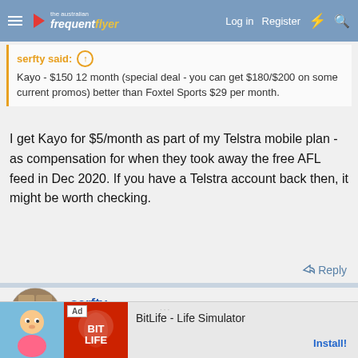The Australian Frequent Flyer | Log in | Register
serfty said: Kayo - $150 12 month (special deal - you can get $180/$200 on some current promos) better than Foxtel Sports $29 per month.
I get Kayo for $5/month as part of my Telstra mobile plan - as compensation for when they took away the free AFL feed in Dec 2020. If you have a Telstra account back then, it might be worth checking.
Reply
serfty
Veteran Member  Moderator  AFF Supporter
Apr 24, 2022  #52
I have b...s.
Telstra N...2
[Figure (screenshot): Ad banner for BitLife - Life Simulator game]